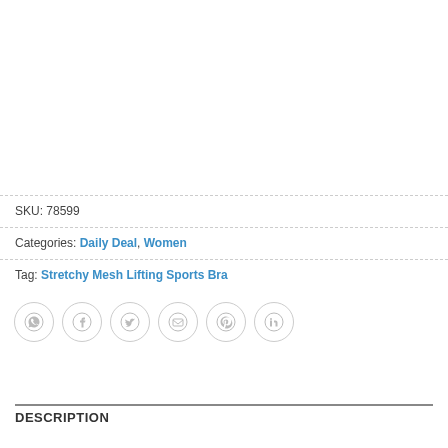SKU: 78599
Categories: Daily Deal, Women
Tag: Stretchy Mesh Lifting Sports Bra
[Figure (other): Social sharing buttons: WhatsApp, Facebook, Twitter, Email, Pinterest, LinkedIn]
DESCRIPTION